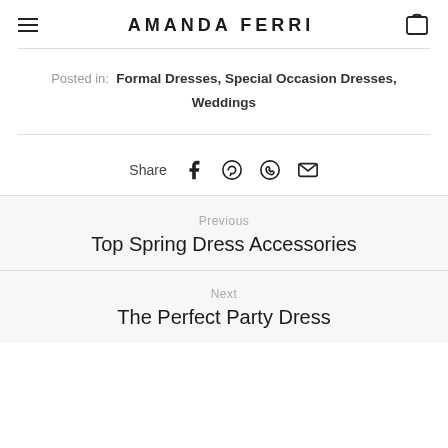AMANDA FERRI
Posted in: Formal Dresses, Special Occasion Dresses, Weddings
Share
Previous
Top Spring Dress Accessories
Next
The Perfect Party Dress